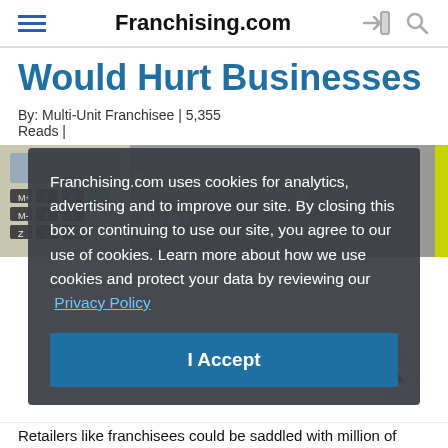Franchising.com
Would Hurt Businesses
By: Multi-Unit Franchisee | 5,355 Reads |
[Figure (screenshot): Cookie consent overlay on Franchising.com article page. Overlay text: 'Franchising.com uses cookies for analytics, advertising and to improve our site. By closing this box or continuing to use our site, you agree to our use of cookies. Learn more about how we use cookies and protect your data by reviewing our Privacy Policy' with an 'I Accept' button.]
Retailers like franchisees could be saddled with million of